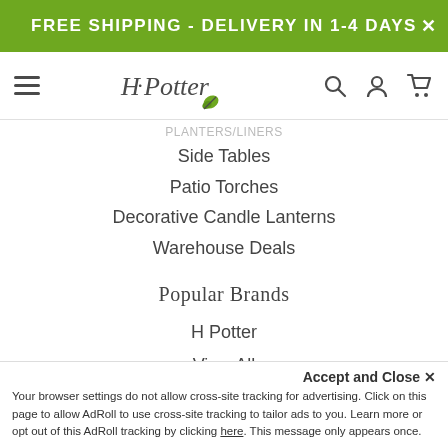FREE SHIPPING - DELIVERY IN 1-4 DAYS
[Figure (logo): H. Potter brand logo with leaf icon]
PLANTERS/LINERS
Side Tables
Patio Torches
Decorative Candle Lanterns
Warehouse Deals
Popular Brands
H Potter
View All
Info
Accept and Close ×
Your browser settings do not allow cross-site tracking for advertising. Click on this page to allow AdRoll to use cross-site tracking to tailor ads to you. Learn more or opt out of this AdRoll tracking by clicking here. This message only appears once.